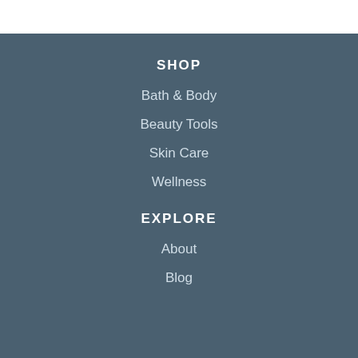SHOP
Bath & Body
Beauty Tools
Skin Care
Wellness
EXPLORE
About
Blog